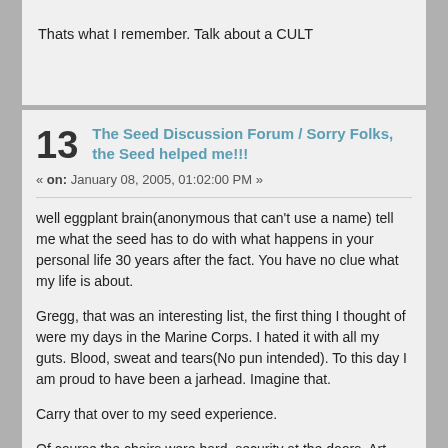Thats what I remember. Talk about a CULT
13 The Seed Discussion Forum / Sorry Folks, the Seed helped me!!!
« on: January 08, 2005, 01:02:00 PM »
well eggplant brain(anonymous that can't use a name) tell me what the seed has to do with what happens in your personal life 30 years after the fact. You have no clue what my life is about.
Gregg, that was an interesting list, the first thing I thought of were my days in the Marine Corps. I hated it with all my guts. Blood, sweat and tears(No pun intended). To this day I am proud to have been a jarhead. Imagine that.
Carry that over to my seed experience.
Of course the chairs were hard, security at the doors, Art was a megalo-maniac but the seed saved the pathetic ass of this 15 year old kid and I'm proud to have been a seedling.